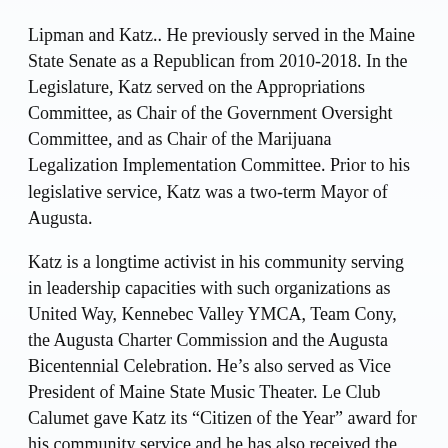Lipman and Katz..  He previously served in the Maine State Senate as a Republican from 2010-2018.  In the Legislature, Katz served on the Appropriations Committee, as Chair of the Government Oversight Committee, and as Chair of the Marijuana Legalization Implementation Committee. Prior to his legislative service, Katz was a two-term Mayor of Augusta.
Katz is a longtime activist in his community serving in leadership capacities with such organizations as United Way, Kennebec Valley YMCA, Team Cony, the Augusta Charter Commission and the Augusta Bicentennial Celebration.  He’s also served as Vice President of Maine State Music Theater.  Le Club Calumet gave Katz its “Citizen of the Year” award for his community service and he has also received the “Business Person of the Year” award from the Kennebec Valley Chamber of Commerce.
Katz is a former president of the Maine Trial Lawyers Association and has been named one of the “Outstanding Lawyers in America.”  He also cohosts “The Maine Event” – a weekly Sunday statewide television program on Maine Public